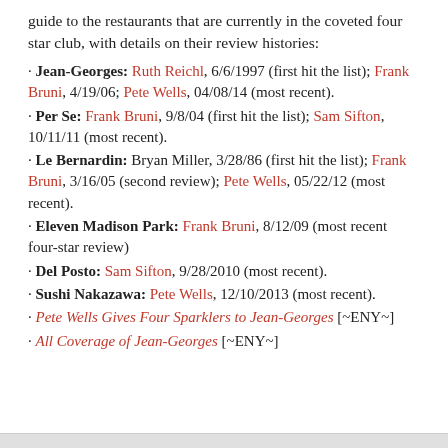guide to the restaurants that are currently in the coveted four star club, with details on their review histories:
Jean-Georges: Ruth Reichl, 6/6/1997 (first hit the list); Frank Bruni, 4/19/06; Pete Wells, 04/08/14 (most recent).
Per Se: Frank Bruni, 9/8/04 (first hit the list); Sam Sifton, 10/11/11 (most recent).
Le Bernardin: Bryan Miller, 3/28/86 (first hit the list); Frank Bruni, 3/16/05 (second review); Pete Wells, 05/22/12 (most recent).
Eleven Madison Park: Frank Bruni, 8/12/09 (most recent four-star review)
Del Posto: Sam Sifton, 9/28/2010 (most recent).
Sushi Nakazawa: Pete Wells, 12/10/2013 (most recent).
Pete Wells Gives Four Sparklers to Jean-Georges [~ENY~]
All Coverage of Jean-Georges [~ENY~]